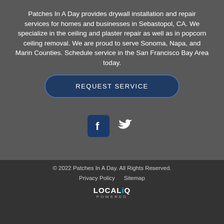Patches In A Day provides drywall installation and repair services for homes and businesses in Sebastopol, CA. We specialize in the ceiling and plaster repair as well as in popcorn ceiling removal. We are proud to serve Sonoma, Napa, and Marin Counties. Schedule service in the San Francisco Bay Area today.
REQUEST SERVICE
[Figure (logo): Facebook icon (white F on dark blue rounded square) and Twitter bird icon (white bird on grey background)]
© 2022 Patches In A Day. All Rights Reserved.
Privacy Policy   Sitemap
[Figure (logo): LOCALiQ POWERED logo in white and cyan]